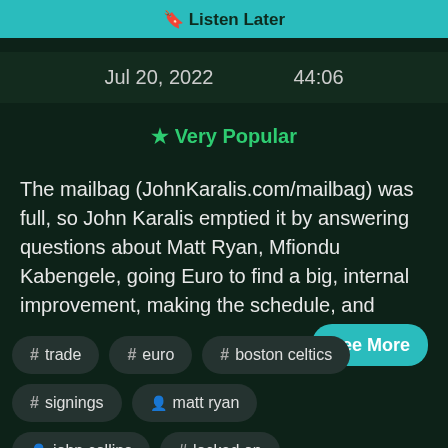[Figure (screenshot): Teal 'Listen Later' button bar at the top, partially clipped]
Jul 20, 2022    44:06
★ Very Popular
The mailbag (JohnKaralis.com/mailbag) was full, so John Karalis emptied it by answering questions about Matt Ryan, Mfiondu Kabengele, going Euro to find a big, internal improvement, making the schedule, and
# trade
# euro
# boston celtics
# signings
👤 matt ryan
👤 john collins
# locked on